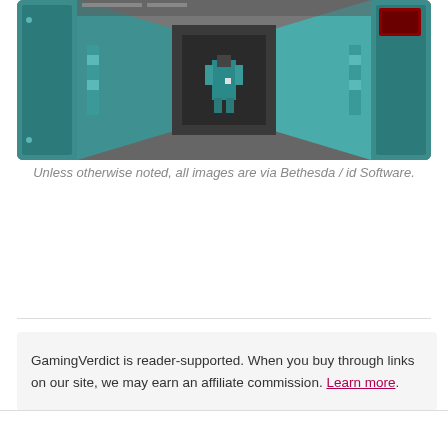[Figure (screenshot): A game screenshot from Doom/id Software showing a 3D corridor with teal-colored walls, mechanical elements, and a character or object in the center of the scene.]
Unless otherwise noted, all images are via Bethesda / id Software.
GamingVerdict is reader-supported. When you buy through links on our site, we may earn an affiliate commission. Learn more